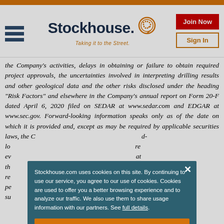[Figure (logo): Stockhouse logo with hamburger menu icon, 'Stockhouse. Taking it to the Street.' wordmark with orange head icon, plus Join Now and Sign In buttons]
the Company's activities, delays in obtaining or failure to obtain required project approvals, the uncertainties involved in interpreting drilling results and other geological data and the other risks disclosed under the heading "Risk Factors" and elsewhere in the Company's annual report on Form 20-F dated April 6, 2020 filed on SEDAR at www.sedar.com and EDGAR at www.sec.gov. Forward-looking information speaks only as of the date on which it is provided and, except as may be required by applicable securities laws, the C... d-looking ... re every... at th... re re... re pe... on su...
Stockhouse.com uses cookies on this site. By continuing to use our service, you agree to our use of cookies. Cookies are used to offer you a better browsing experience and to analyze our traffic. We also use them to share usage information with our partners. See full details.
I Agree